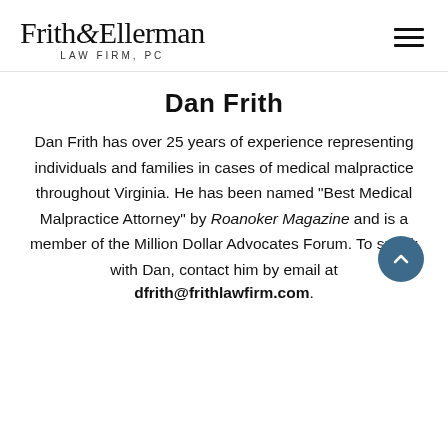Frith&Ellerman LAW FIRM, PC
Dan Frith
Dan Frith has over 25 years of experience representing individuals and families in cases of medical malpractice throughout Virginia. He has been named "Best Medical Malpractice Attorney" by Roanoker Magazine and is a member of the Million Dollar Advocates Forum. To speak with Dan, contact him by email at dfrith@frithlawfirm.com.